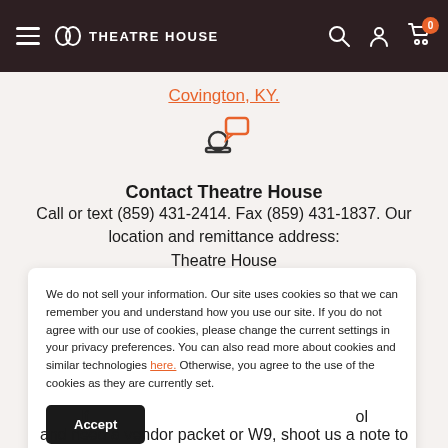Theatre House — navigation bar with hamburger menu, logo, search, account, and cart icons
Covington, KY.
[Figure (illustration): Person with speech bubble icon in orange outline style]
Contact Theatre House
Call or text (859) 431-2414. Fax (859) 431-1837. Our location and remittance address:
Theatre House
We do not sell your information. Our site uses cookies so that we can remember you and understand how you use our site. If you do not agree with our use of cookies, please change the current settings in your privacy preferences. You can also read more about cookies and similar technologies here. Otherwise, you agree to the use of the cookies as they are currently set.
If ... and need a vendor packet or W9, shoot us a note to